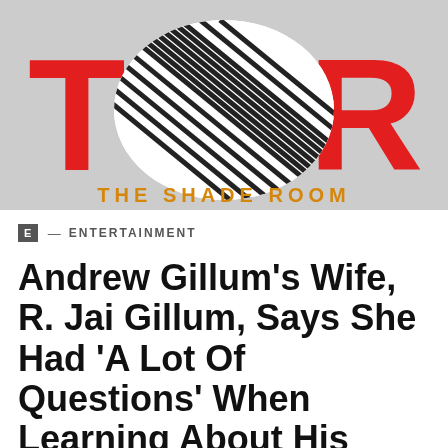[Figure (logo): The Shade Room logo with large red T and R letters, diagonal stripe pattern overlay in center, and orange 'THE SHADE ROOM' text below on gray background]
E — ENTERTAINMENT
Andrew Gillum's Wife, R. Jai Gillum, Says She Had 'A Lot Of Questions' When Learning About His Bisexuality Early